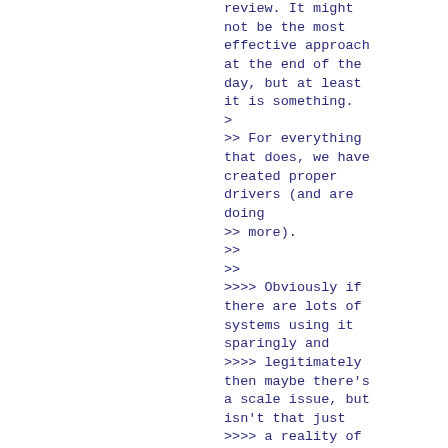review. It might not be the most effective approach at the end of the day, but at least it is something.
>
>> For everything that does, we have created proper drivers (and are doing
>> more).
>>
>>
>>>> Obviously if there are lots of systems using it sparingly and
>>>> legitimately then maybe there's a scale issue, but isn't that just
>>>> a reality of different hardware designs? Whoever is implementing
>>>> support for the system is going to have to describe